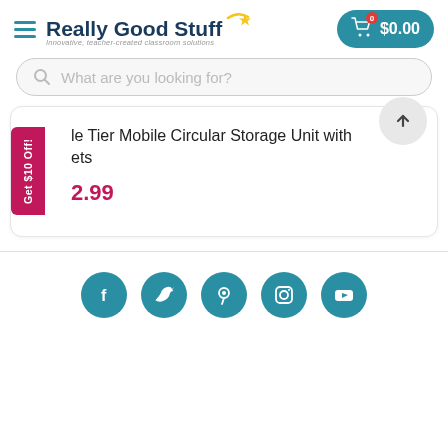[Figure (logo): Really Good Stuff logo with yellow star and arc, tagline: Innovative, teacher-created classroom solutions]
[Figure (screenshot): Shopping cart button showing $0.00 with teal background and red badge showing 0]
What are you looking for?
Get $10 Off!
le Tier Mobile Circular Storage Unit with ets
2.99
[Figure (other): Scroll to top arrow button (circle with upward arrow)]
[Figure (other): Social media icons: Facebook, Twitter, Pinterest, Instagram, YouTube in teal circles]